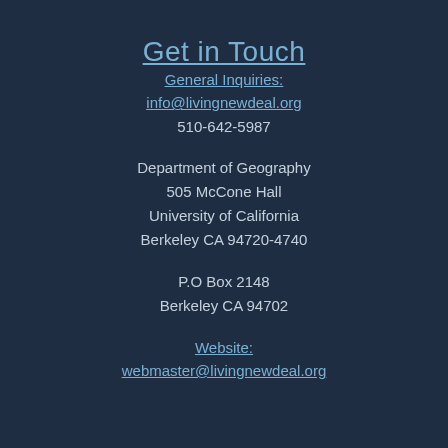Get in Touch
General Inquiries:
info@livingnewdeal.org
510-642-5987
Department of Geography
505 McCone Hall
University of California
Berkeley CA 94720-4740
P.O Box 2148
Berkeley CA 94702
Website:
webmaster@livingnewdeal.org